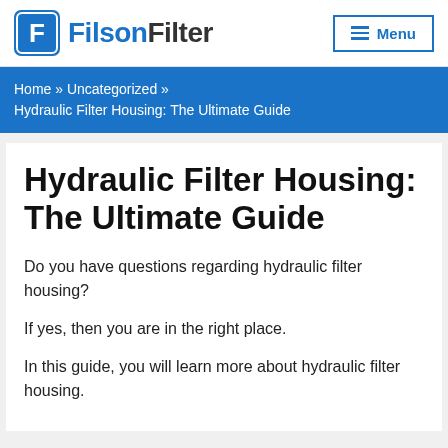Filson Filter — Menu
Home » Uncategorized » Hydraulic Filter Housing: The Ultimate Guide
Hydraulic Filter Housing: The Ultimate Guide
Do you have questions regarding hydraulic filter housing?
If yes, then you are in the right place.
In this guide, you will learn more about hydraulic filter housing.